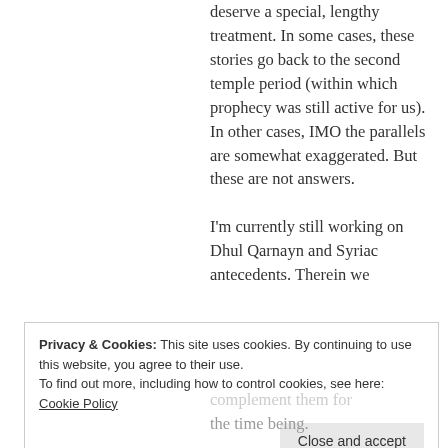deserve a special, lengthy treatment. In some cases, these stories go back to the second temple period (within which prophecy was still active for us). In other cases, IMO the parallels are somewhat exaggerated. But these are not answers.
I'm currently still working on Dhul Qarnayn and Syriac antecedents. Therein we
Privacy & Cookies: This site uses cookies. By continuing to use this website, you agree to their use.
To find out more, including how to control cookies, see here: Cookie Policy
Close and accept
complement them for the time being.